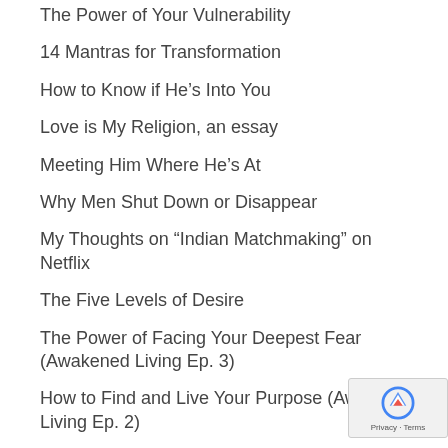The Power of Your Vulnerability
14 Mantras for Transformation
How to Know if He's Into You
Love is My Religion, an essay
Meeting Him Where He's At
Why Men Shut Down or Disappear
My Thoughts on “Indian Matchmaking” on Netflix
The Five Levels of Desire
The Power of Facing Your Deepest Fear (Awakened Living Ep. 3)
How to Find and Live Your Purpose (Awakened Living Ep. 2)